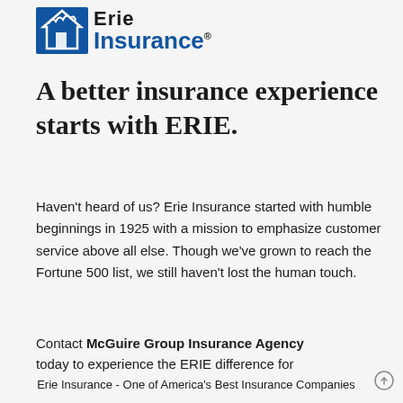[Figure (logo): Erie Insurance logo with blue house/flame graphic and 'Erie Insurance' text with registered trademark symbol]
A better insurance experience starts with ERIE.
Haven't heard of us? Erie Insurance started with humble beginnings in 1925 with a mission to emphasize customer service above all else. Though we've grown to reach the Fortune 500 list, we still haven't lost the human touch.
Contact McGuire Group Insurance Agency today to experience the ERIE difference for
Erie Insurance - One of America's Best Insurance Companies